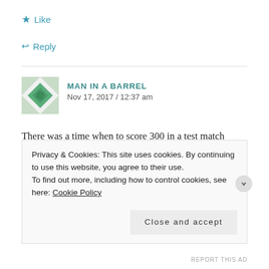★ Like
↩ Reply
MAN IN A BARREL
Nov 17, 2017 / 12:37 am
There was a time when to score 300 in a test match innings was a guarantee of greatness... Bradman, Hammond, Sobers, Hanif.... Then scales lifted... Edrich, Cowper. Gooch, the guy who can't play medium paced in swing. The quality is falling.
Privacy & Cookies: This site uses cookies. By continuing to use this website, you agree to their use.
To find out more, including how to control cookies, see here: Cookie Policy
Close and accept
REPORT THIS AD